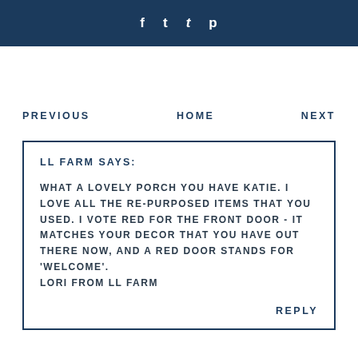f  t  t  p
PREVIOUS    HOME    NEXT
LL FARM SAYS:

WHAT A LOVELY PORCH YOU HAVE KATIE. I LOVE ALL THE RE-PURPOSED ITEMS THAT YOU USED. I VOTE RED FOR THE FRONT DOOR - IT MATCHES YOUR DECOR THAT YOU HAVE OUT THERE NOW, AND A RED DOOR STANDS FOR 'WELCOME'.
LORI FROM LL FARM
REPLY